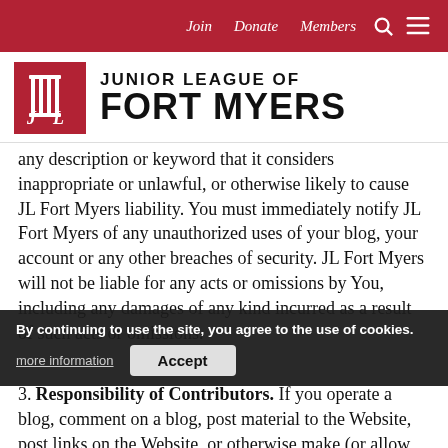Join   Donate   Members
[Figure (logo): Junior League of Fort Myers logo — red square with JL columns icon, beside bold text JUNIOR LEAGUE OF FORT MYERS]
any description or keyword that it considers inappropriate or unlawful, or otherwise likely to cause JL Fort Myers liability. You must immediately notify JL Fort Myers of any unauthorized uses of your blog, your account or any other breaches of security. JL Fort Myers will not be liable for any acts or omissions by You, including any damages of any kind incurred as a result of such acts or omissions.
By continuing to use the site, you agree to the use of cookies.
3. Responsibility of Contributors. If you operate a blog, comment on a blog, post material to the Website, post links on the Website, or otherwise make (or allow any third party to make) material available by means of the Website...